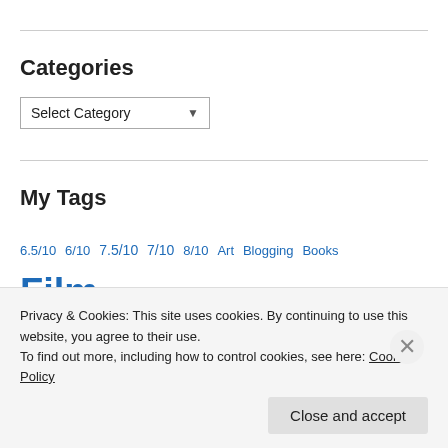Categories
Select Category
My Tags
6.5/10 6/10 7.5/10 7/10 8/10 Art Blogging Books Film Guest Reviews Horror IMDB Top 250 John Hughes John Hughes Blogathon List Movie Review Movie Reviews
Privacy & Cookies: This site uses cookies. By continuing to use this website, you agree to their use.
To find out more, including how to control cookies, see here: Cookie Policy
Close and accept